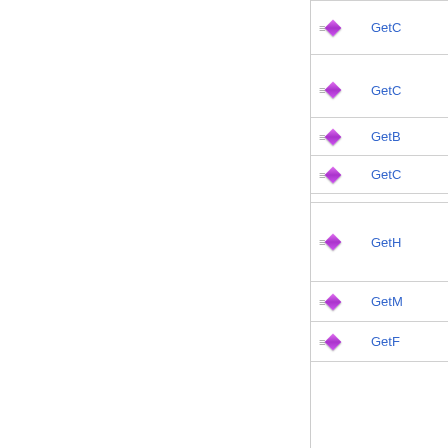GetC...
GetC...
GetB...
GetC...
GetH...
GetM...
GetF...